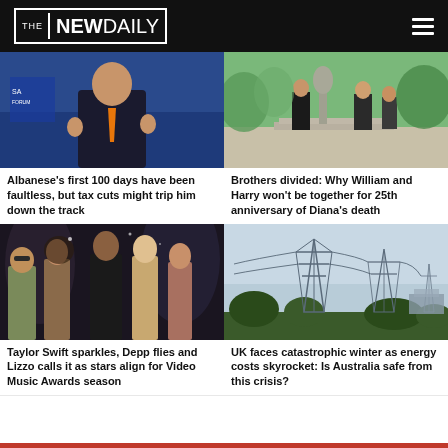[Figure (logo): The New Daily logo in white on black header bar]
[Figure (photo): Man in dark suit with orange tie speaking at podium, blue background]
Albanese’s first 100 days have been faultless, but tax cuts might trip him down the track
[Figure (photo): Two men in dark suits standing with backs to camera looking at statue in garden]
Brothers divided: Why William and Harry won’t be together for 25th anniversary of Diana’s death
[Figure (photo): Group of celebrities posing, Taylor Swift related, dark background]
Taylor Swift sparkles, Depp flies and Lizzo calls it as stars align for Video Music Awards season
[Figure (photo): UK electricity pylons silhouetted against grey sky]
UK faces catastrophic winter as energy costs skyrocket: Is Australia safe from this crisis?